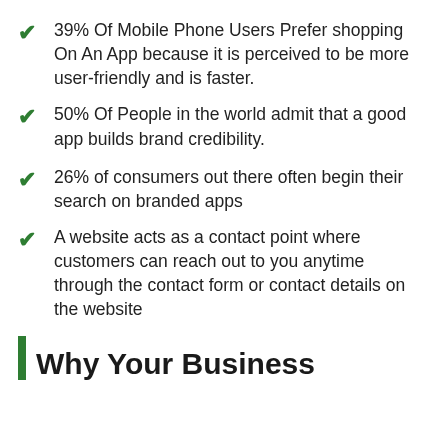39% Of Mobile Phone Users Prefer shopping On An App because it is perceived to be more user-friendly and is faster.
50% Of People in the world admit that a good app builds brand credibility.
26% of consumers out there often begin their search on branded apps
A website acts as a contact point where customers can reach out to you anytime through the contact form or contact details on the website
Why Your Business